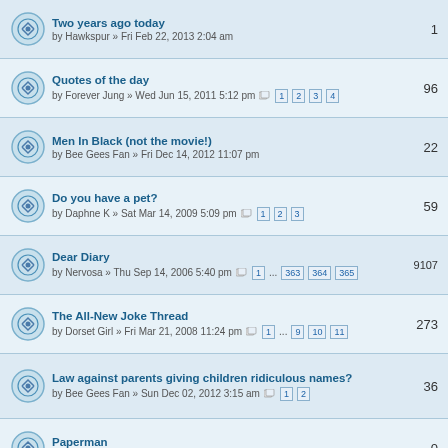Two years ago today — by Hawkspur » Fri Feb 22, 2013 2:04 am — 1
Quotes of the day — by Forever Jung » Wed Jun 15, 2011 5:12 pm — pages 1 2 3 4 — 96
Men In Black (not the movie!) — by Bee Gees Fan » Fri Dec 14, 2012 11:07 pm — 22
Do you have a pet? — by Daphne K » Sat Mar 14, 2009 5:09 pm — pages 1 2 3 — 59
Dear Diary — by Nervosa » Thu Sep 14, 2006 5:40 pm — pages 1 ... 363 364 365 — 9107
The All-New Joke Thread — by Dorset Girl » Fri Mar 21, 2008 11:24 pm — pages 1 ... 9 10 11 — 273
Law against parents giving children ridiculous names? — by Bee Gees Fan » Sun Dec 02, 2012 3:15 am — pages 1 2 — 36
Paperman — by DAMN » Thu Jan 10, 2013 11:44 pm — 0
Saddest movies of all time — by tgirl » Thu Dec 20, 2012 6:53 am — pages 1 2 — 44
The Over Rated Crap Thread (aka Room 101) — by Forever Jung » Tue Sep 25, 2012 6:49 pm — pages 1 2 — 38
Drunk topic — by Daphne K » Fri Aug 07, 2009 12:05 am — pages 1 ... 21 22 23 — 550